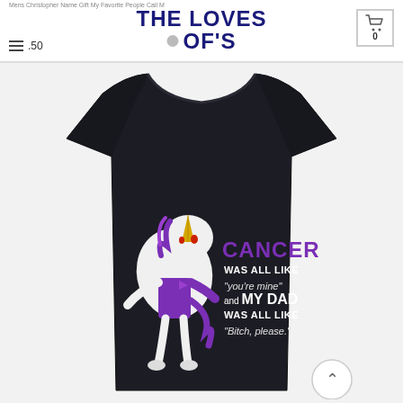THE LOVES OF'S
Mens Christopher Name Gift My Favorite People Call M
.50
0
[Figure (photo): A dark navy/black t-shirt with a dabbing unicorn graphic. The unicorn is white and purple. Text on shirt reads: CANCER was all like "you're mine" and MY DAD was all like "bitch, please."]